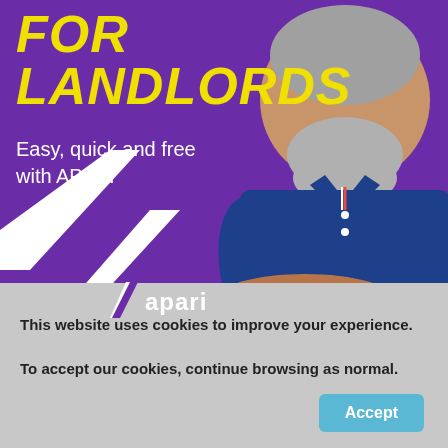[Figure (illustration): Purple background advertisement banner for APARI landlord tax service. Shows the title text FOR LANDLORDS in large yellow italic bold font, subtitle Easy quick and free with APARI in white, a photo of an older man with grey beard wearing a blue polo shirt with arms crossed on the right side, a white chevron/arrow decorative element at bottom left, and the apari logo at the bottom.]
This website uses cookies to improve your experience.
To accept our cookies, continue browsing as normal.
Accept